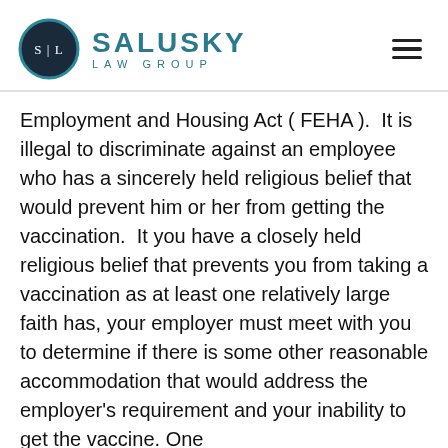[Figure (logo): Salusky Law Group logo with circular emblem containing S|L initials and teal text]
Employment and Housing Act ( FEHA ).  It is illegal to discriminate against an employee who has a sincerely held religious belief that would prevent him or her from getting the vaccination.  It you have a closely held religious belief that prevents you from taking a vaccination as at least one relatively large faith has, your employer must meet with you to determine if there is some other reasonable accommodation that would address the employer's requirement and your inability to get the vaccine. One